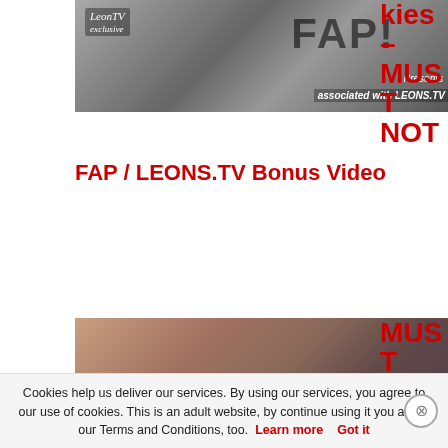[Figure (screenshot): Video thumbnail for FAP/LEONS.TV with logo and FAP! text overlay]
kies – MUST NOT
FAP / LEONS.TV Bonus Video
[Figure (photo): Adult video thumbnail showing two people]
MUST NOT
Cookies help us deliver our services. By using our services, you agree to our use of cookies. This is an adult website, by continue using it you agree our Terms and Conditions, too. Learn more  Got it